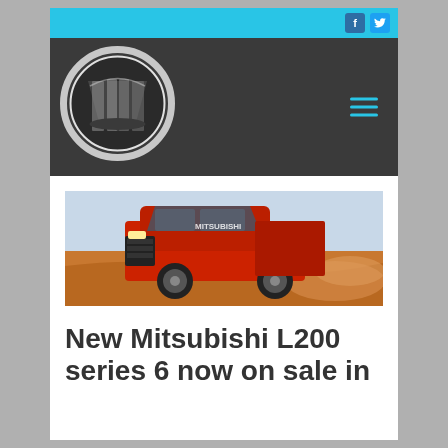Social media bar with Facebook and Twitter icons
[Figure (logo): Circular chrome/silver logo on dark header background with hamburger menu icon]
[Figure (photo): Red Mitsubishi L200 pickup truck driving on red sand/dirt terrain, kicking up dust, photographed at a low angle]
New Mitsubishi L200 series 6 now on sale in